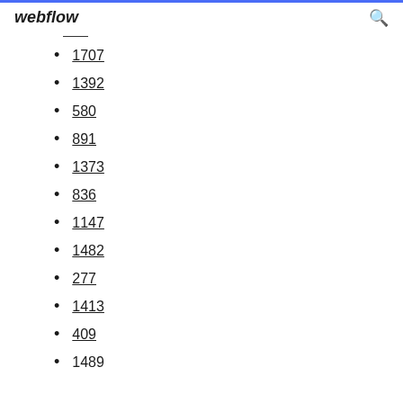webflow
1707
1392
580
891
1373
836
1147
1482
277
1413
409
1489